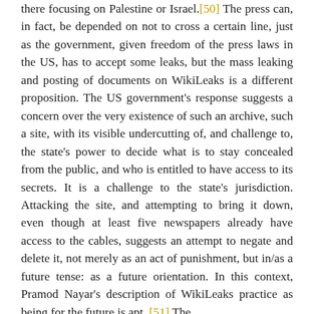there focusing on Palestine or Israel.[50] The press can, in fact, be depended on not to cross a certain line, just as the government, given freedom of the press laws in the US, has to accept some leaks, but the mass leaking and posting of documents on WikiLeaks is a different proposition. The US government's response suggests a concern over the very existence of such an archive, such a site, with its visible undercutting of, and challenge to, the state's power to decide what is to stay concealed from the public, and who is entitled to have access to its secrets. It is a challenge to the state's jurisdiction. Attacking the site, and attempting to bring it down, even though at least five newspapers already have access to the cables, suggests an attempt to negate and delete it, not merely as an act of punishment, but in/as a future tense: as a future orientation. In this context, Pramod Nayar's description of WikiLeaks practice as being for the future is apt. [51] The